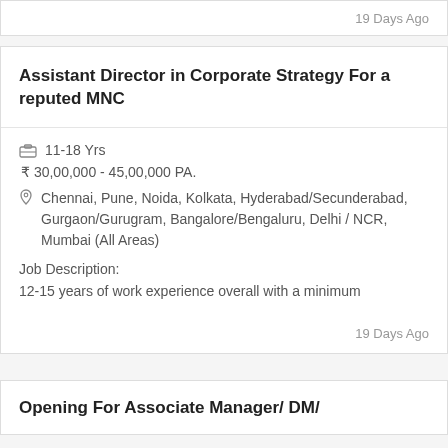19 Days Ago
Assistant Director in Corporate Strategy For a reputed MNC
11-18 Yrs
₹ 30,00,000 - 45,00,000 PA.
Chennai, Pune, Noida, Kolkata, Hyderabad/Secunderabad, Gurgaon/Gurugram, Bangalore/Bengaluru, Delhi / NCR, Mumbai (All Areas)
Job Description:
12-15 years of work experience overall with a minimum
19 Days Ago
Opening For Associate Manager/ DM/